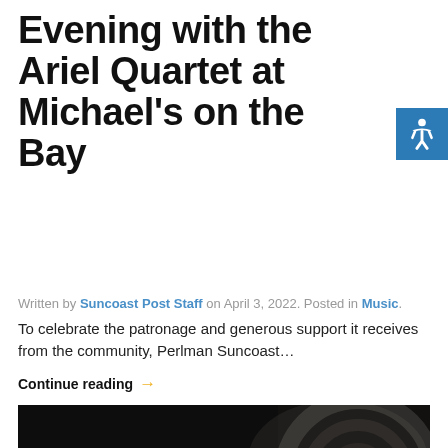Evening with the Ariel Quartet at Michael's on the Bay
Written by Suncoast Post Staff on April 3, 2022. Posted in Music.
To celebrate the patronage and generous support it receives from the community, Perlman Suncoast...
Continue reading →
[Figure (photo): Concert performance on a dark stage with multiple musicians playing, including a prominent figure in a striped shirt on the right, others to the left with microphones, and a large decorative spiral in the background.]